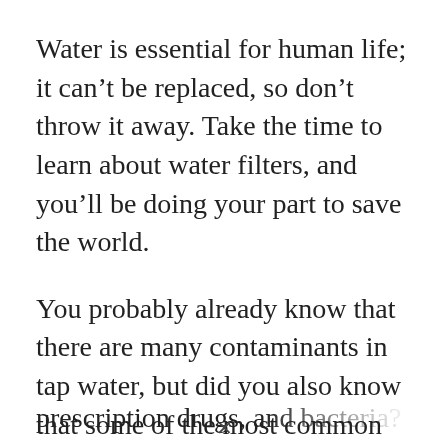Water is essential for human life; it can't be replaced, so don't throw it away. Take the time to learn about water filters, and you'll be doing your part to save the world.
You probably already know that there are many contaminants in tap water, but did you also know that some of the most common water contaminants are chlorine, THMs (chlorination byproducts), lead, VOCs, pesticides, prescription drugs, and bacteria?